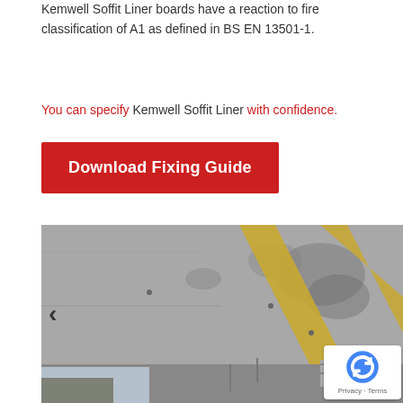Kemwell Soffit Liner boards have a reaction to fire classification of A1 as defined in BS EN 13501-1.
You can specify Kemwell Soffit Liner with confidence.
Download Fixing Guide
[Figure (photo): Interior construction photo showing soffit liner boards installed on a concrete ceiling with yellow framing strips, viewed from below in a building under construction.]